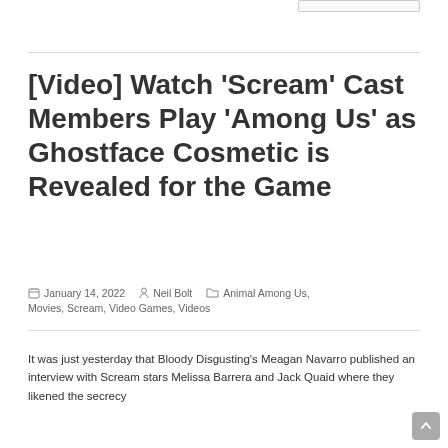[Video] Watch 'Scream' Cast Members Play 'Among Us' as Ghostface Cosmetic is Revealed for the Game
January 14, 2022   Neil Bolt   Animal Among Us, Movies, Scream, Video Games, Videos
It was just yesterday that Bloody Disgusting's Meagan Navarro published an interview with Scream stars Melissa Barrera and Jack Quaid where they likened the secrecy